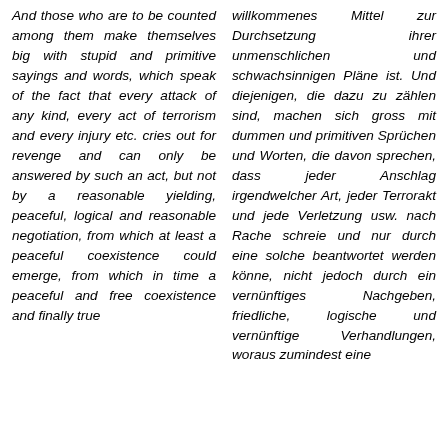And those who are to be counted among them make themselves big with stupid and primitive sayings and words, which speak of the fact that every attack of any kind, every act of terrorism and every injury etc. cries out for revenge and can only be answered by such an act, but not by a reasonable yielding, peaceful, logical and reasonable negotiation, from which at least a peaceful coexistence could emerge, from which in time a peaceful and free coexistence and finally true
willkommenes Mittel zur Durchsetzung ihrer unmenschlichen und schwachsinnigen Pläne ist. Und diejenigen, die dazu zu zählen sind, machen sich gross mit dummen und primitiven Sprüchen und Worten, die davon sprechen, dass jeder Anschlag irgendwelcher Art, jeder Terrorakt und jede Verletzung usw. nach Rache schreie und nur durch eine solche beantwortet werden könne, nicht jedoch durch ein vernünftiges Nachgeben, friedliche, logische und vernünftige Verhandlungen, woraus zumindest eine friedliche